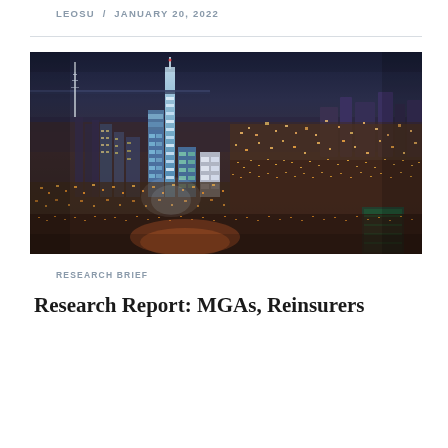LEOSU / JANUARY 20, 2022
[Figure (photo): Aerial night photograph of a dense city skyline with illuminated skyscrapers and urban sprawl, featuring prominent blue-lit towers in the center-left.]
RESEARCH BRIEF
Research Report: MGAs, Reinsurers